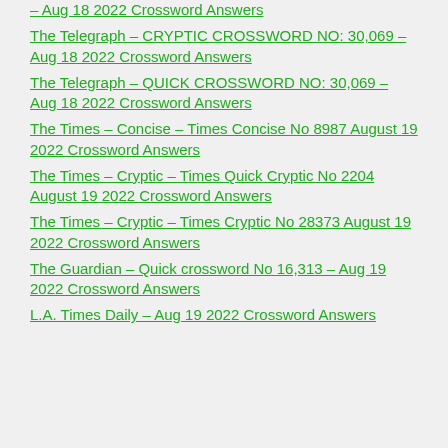– Aug 18 2022 Crossword Answers
The Telegraph – CRYPTIC CROSSWORD NO: 30,069 – Aug 18 2022 Crossword Answers
The Telegraph – QUICK CROSSWORD NO: 30,069 – Aug 18 2022 Crossword Answers
The Times – Concise – Times Concise No 8987 August 19 2022 Crossword Answers
The Times – Cryptic – Times Quick Cryptic No 2204 August 19 2022 Crossword Answers
The Times – Cryptic – Times Cryptic No 28373 August 19 2022 Crossword Answers
The Guardian – Quick crossword No 16,313 – Aug 19 2022 Crossword Answers
L.A. Times Daily – Aug 19 2022 Crossword Answers